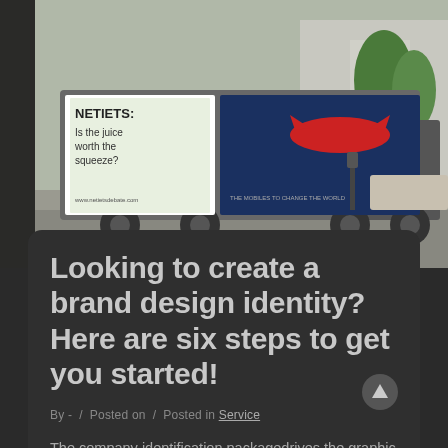[Figure (photo): Street photo of a truck with billboard advertisements on its side, parked on an urban street with trees and buildings in background. Billboard shows 'NETIETS: Is the juice worth the squeeze?' advertisement.]
Looking to create a brand design identity? Here are six steps to get you started!
By - / Posted on / Posted in Service
The company identification packagedrives the graphic appearance of your own company or merchandise. Making a strong marketing